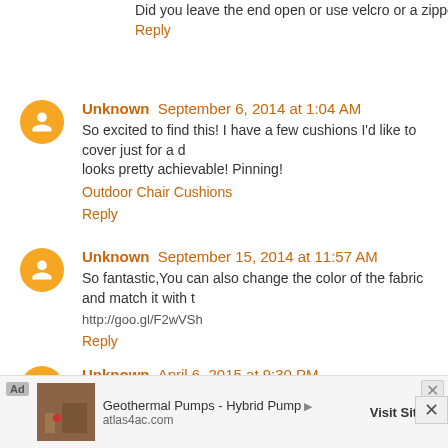Did you leave the end open or use velcro or a zipper to close?
Reply
Unknown  September 6, 2014 at 1:04 AM
So excited to find this! I have a few cushions I'd like to cover just for a d... looks pretty achievable! Pinning!
Outdoor Chair Cushions
Reply
Unknown  September 15, 2014 at 11:57 AM
So fantastic,You can also change the color of the fabric and match it with...
http://goo.gl/F2wVSh
Reply
Unknown  April 6, 2015 at 9:30 PM
Try using a fabric shower curtain, these come in 72x72 inch lengths and... find in the shower curtain area! Great article on tackling some dirt!
[Figure (infographic): Ad banner: Geothermal Pumps - Hybrid Pumps, atlas4ac.com, Visit Site button]